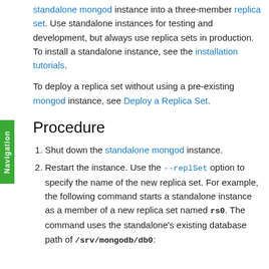standalone mongod instance into a three-member replica set. Use standalone instances for testing and development, but always use replica sets in production. To install a standalone instance, see the installation tutorials.
To deploy a replica set without using a pre-existing mongod instance, see Deploy a Replica Set.
Procedure
Shut down the standalone mongod instance.
Restart the instance. Use the --replSet option to specify the name of the new replica set. For example, the following command starts a standalone instance as a member of a new replica set named rs0. The command uses the standalone's existing database path of /srv/mongodb/db0: